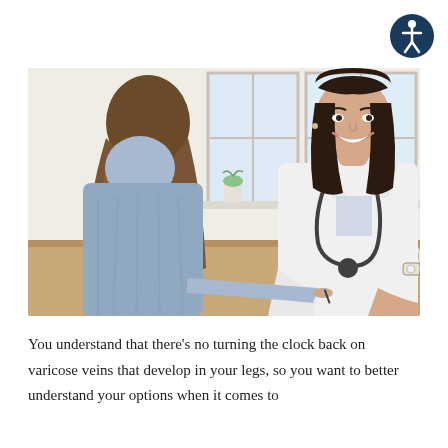[Figure (logo): Accessibility icon — a white stick figure on a dark navy blue circle background]
[Figure (photo): A female doctor in a white coat with a stethoscope sits across a desk from a female patient with long brown hair, both smiling, in a bright clinical office setting with windows and a small plant in the background]
You understand that there's no turning the clock back on varicose veins that develop in your legs, so you want to better understand your options when it comes to